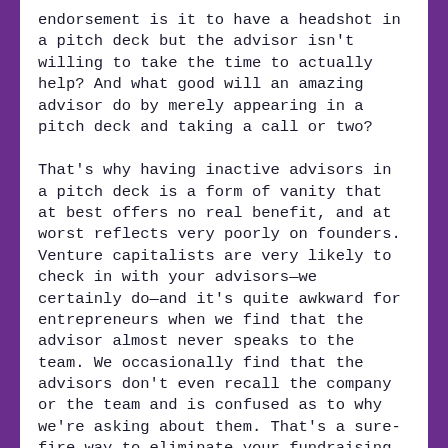endorsement is it to have a headshot in a pitch deck but the advisor isn't willing to take the time to actually help? And what good will an amazing advisor do by merely appearing in a pitch deck and taking a call or two?
That's why having inactive advisors in a pitch deck is a form of vanity that at best offers no real benefit, and at worst reflects very poorly on founders. Venture capitalists are very likely to check in with your advisors—we certainly do—and it's quite awkward for entrepreneurs when we find that the advisor almost never speaks to the team. We occasionally find that the advisors don't even recall the company or the team and is confused as to why we're asking about them. That's a sure-fire way to eliminate your fundraising prospects with that VC.